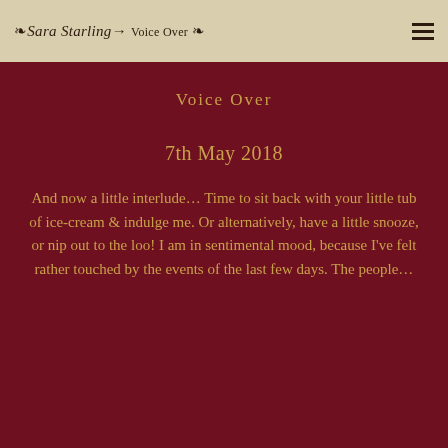Sara Starling Voice Over
Voice Over
7th May 2018
And now a little interlude… Time to sit back with your little tub of ice-cream & indulge me. Or alternatively, have a little snooze, or nip out to the loo! I am in sentimental mood, because I've felt rather touched by the events of the last few days. The people…